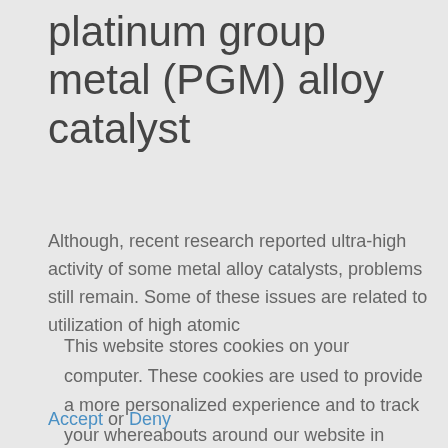platinum group metal (PGM) alloy catalyst
Although, recent research reported ultra-high activity of some metal alloy catalysts, problems still remain. Some of these issues are related to utilization of high atomic
This website stores cookies on your computer. These cookies are used to provide a more personalized experience and to track your whereabouts around our website in compliance with the European General Data Protection Regulation. If you decide to to opt-out of any future tracking, a cookie will be setup in your browser to remember this choice for one year.
Accept or Deny